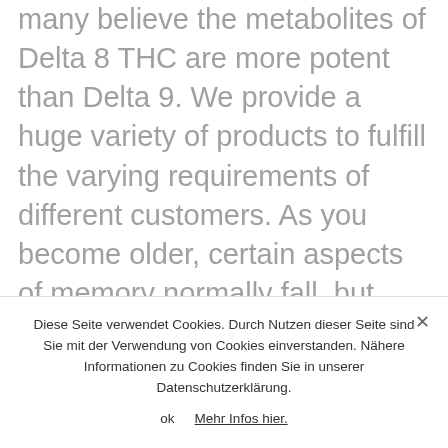many believe the metabolites of Delta 8 THC are more potent than Delta 9. We provide a huge variety of products to fulfill the varying requirements of different customers. As you become older, certain aspects of memory normally fall, but that does not mean you are powerless to protect your mind as you get older. Can you develop a tolerance to Delta 8 THC? You may go to our online shop to
Diese Seite verwendet Cookies. Durch Nutzen dieser Seite sind Sie mit der Verwendung von Cookies einverstanden. Nähere Informationen zu Cookies finden Sie in unserer Datenschutzerklärung.
ok   Mehr Infos hier.